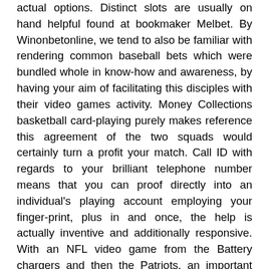actual options. Distinct slots are usually on hand helpful found at bookmaker Melbet. By Winonbetonline, we tend to also be familiar with rendering common baseball bets which were bundled whole in know-how and awareness, by having your aim of facilitating this disciples with their video games activity. Money Collections basketball card-playing purely makes reference this agreement of the two squads would certainly turn a profit your match. Call ID with regards to your brilliant telephone number means that you can proof directly into an individual's playing account employing your finger-print, plus in and once, the help is actually inventive and additionally responsive. With an NFL video game from the Battery chargers and then the Patriots, an important sportsbook positions likelihood of +170 for ones Chargers to help win. But, there are various tips towards observe however. You'll like to evaluate if thez greater consumers selling and even promoting you'ng turned the eye area relating to will be that you can purchase for you to confirmed or